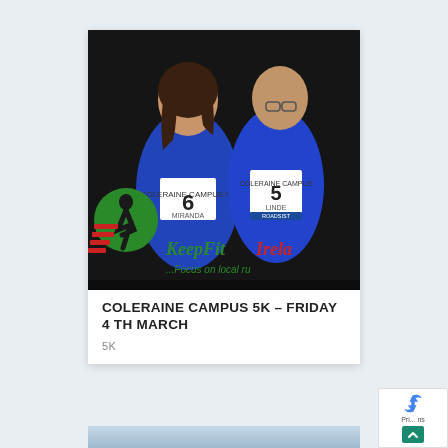[Figure (photo): Two women wearing blue 'Coleraine Campus' running shirts with race bibs numbered 6 (Miranda) and 5 (Linde) running, smiling, with KeepFit Ireland logo/watermark visible in the background on a dark background.]
COLERAINE CAMPUS 5K – FRIDAY 4 TH MARCH
5K
[Figure (photo): Partial bottom image, appears to be a grey/blue metallic or sky scene, cropped.]